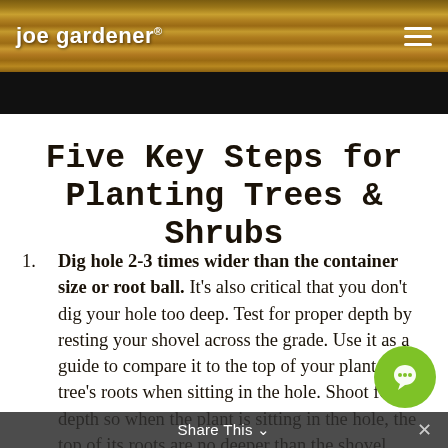joe gardener®
Five Key Steps for Planting Trees & Shrubs
1. Dig hole 2-3 times wider than the container size or root ball. It's also critical that you don't dig your hole too deep. Test for proper depth by resting your shovel across the grade. Use it as a guide to compare it to the top of your plant or tree's roots when sitting in the hole. Shoot for a depth so when the plant is sitting in the hole, the top of its roots are no deeper than the shovel handle. I prefer to plant higher – up to 25% higher than grade. By planting higher, you have less risk of water
Share This